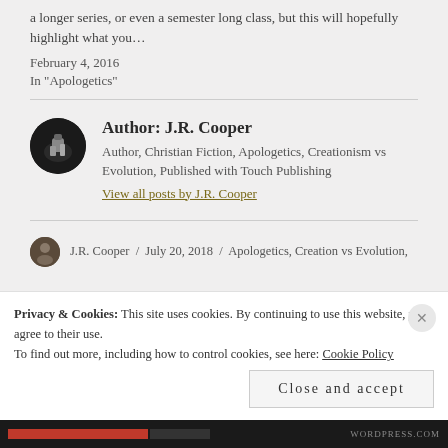a longer series, or even a semester long class, but this will hopefully highlight what you…
February 4, 2016
In "Apologetics"
Author: J.R. Cooper
Author, Christian Fiction, Apologetics, Creationism vs Evolution, Published with Touch Publishing
View all posts by J.R. Cooper
J.R. Cooper / July 20, 2018 / Apologetics, Creation vs Evolution,
Privacy & Cookies: This site uses cookies. By continuing to use this website, you agree to their use.
To find out more, including how to control cookies, see here: Cookie Policy
Close and accept